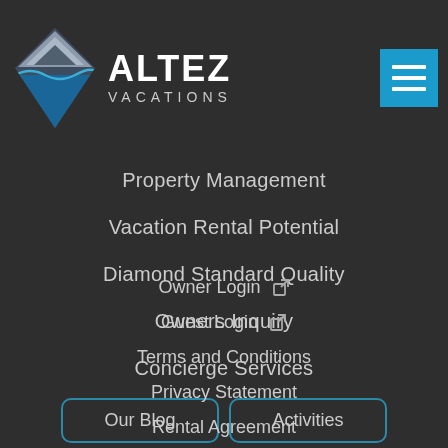[Figure (logo): Altez Vacations logo with diamond/mountain shape and text]
Property Management
Vacation Rental Potential
Diamond Standard Quality
Owners Inquiry
Concierge Services
Our Blog
Activities
About Us
Our Team
Careers
Owner Login
Guest Login
Terms and Conditions
Privacy Statement
Rental Agreement